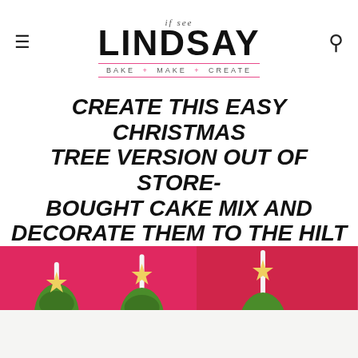if see Lindsay — BAKE + MAKE + CREATE
CREATE THIS EASY CHRISTMAS TREE VERSION OUT OF STORE-BOUGHT CAKE MIX AND DECORATE THEM TO THE HILT SO THAT THEY'LL BE A HIT AT YOUR NEXT CHRISTMAS PARTY.
[Figure (photo): Two Christmas tree cake pops on sticks with yellow star toppers, green frosting, and colorful sprinkles against a pink/red background.]